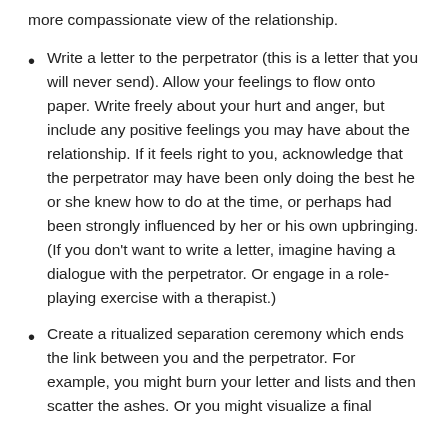more compassionate view of the relationship.
Write a letter to the perpetrator (this is a letter that you will never send). Allow your feelings to flow onto paper. Write freely about your hurt and anger, but include any positive feelings you may have about the relationship. If it feels right to you, acknowledge that the perpetrator may have been only doing the best he or she knew how to do at the time, or perhaps had been strongly influenced by her or his own upbringing. (If you don't want to write a letter, imagine having a dialogue with the perpetrator. Or engage in a role-playing exercise with a therapist.)
Create a ritualized separation ceremony which ends the link between you and the perpetrator. For example, you might burn your letter and lists and then scatter the ashes. Or you might visualize a final